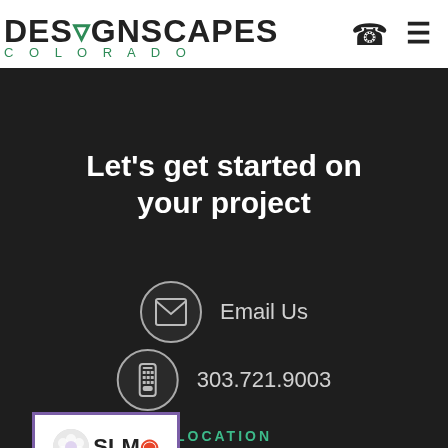[Figure (logo): Designscapes Colorado logo with stylized tree and green text on white nav bar]
Let's get started on your project
Email Us
303.721.9003
LOCATION
15440 East Fremont Drive
Centennial, Colorado 80112
[Figure (logo): SLMC Sustainable Landscape Management Colorado certified team badge with purple border]